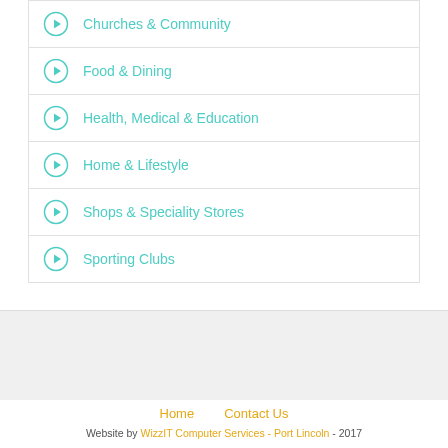Churches & Community
Food & Dining
Health, Medical & Education
Home & Lifestyle
Shops & Speciality Stores
Sporting Clubs
Home   Contact Us   Website by WizzIT Computer Services - Port Lincoln - 2017